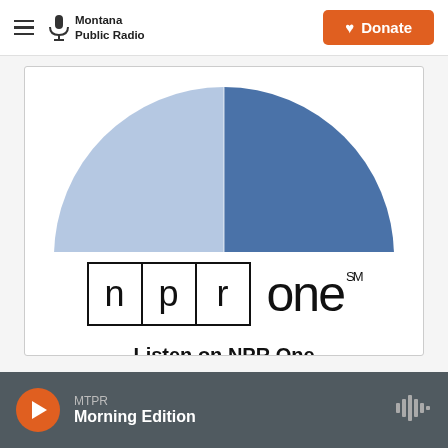Montana Public Radio | Donate
[Figure (illustration): Partial donut/pie chart in shades of blue, showing upper semicircle cut off at top of card]
[Figure (logo): NPR One logo with boxes containing letters n, p, r and the word 'one' with SM superscript]
Listen on NPR One
MTPR Morning Edition